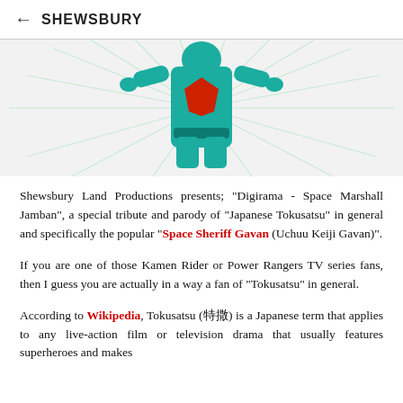← SHEWSBURY
[Figure (illustration): Partial view of a colorful tokusatsu-style hero character in teal/blue suit with red chest piece, arms outstretched, with light rays radiating outward on white background.]
Shewsbury Land Productions presents; "Digirama - Space Marshall Jamban", a special tribute and parody of "Japanese Tokusatsu" in general and specifically the popular "Space Sheriff Gavan (Uchuu Keiji Gavan)".
If you are one of those Kamen Rider or Power Rangers TV series fans, then I guess you are actually in a way a fan of "Tokusatsu" in general.
According to Wikipedia, Tokusatsu (特撮) is a Japanese term that applies to any live-action film or television drama that usually features superheroes and makes